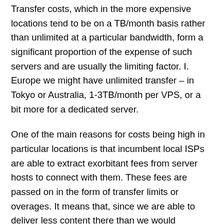Transfer costs, which in the more expensive locations tend to be on a TB/month basis rather than unlimited at a particular bandwidth, form a significant proportion of the expense of such servers and are usually the limiting factor. I. Europe we might have unlimited transfer – in Tokyo or Australia, 1-3TB/month per VPS, or a bit more for a dedicated server.
One of the main reasons for costs being high in particular locations is that incumbent local ISPs are able to extract exorbitant fees from server hosts to connect with them. These fees are passed on in the form of transfer limits or overages. It means that, since we are able to deliver less content there than we would otherwise, users of those ISPs get a worse service. Instead, what usually happens is that we direct people to get files from our servers in Europe: